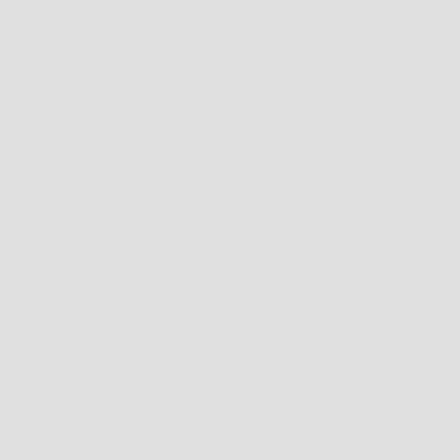Meat, To Balt quickly. 11........ 3
125
179
to open your Purse, a..
Mother-of-Pearl, Imitation of .....
636
335 Washington and the Corpora
Mousseline-de-Laime, To wash..
Mushrooms, to Keep ...
876
**59.
10 Wife, the Good::
of
Nutmegs, Economical use of
Buny, Always..
Requisites in a...
Essence of
17